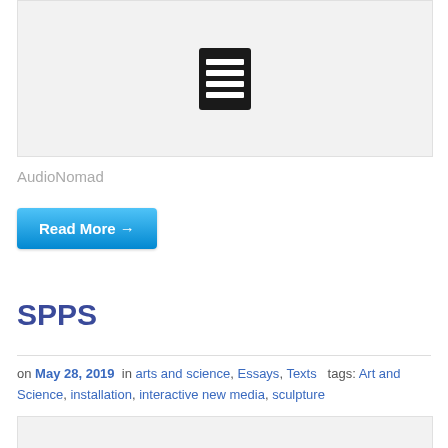[Figure (illustration): Document/text icon on light gray background]
AudioNomad
Read More →
SPPS
on May 28, 2019  in arts and science, Essays, Texts   tags: Art and Science, installation, interactive new media, sculpture
[Figure (other): Bottom image placeholder, light gray]